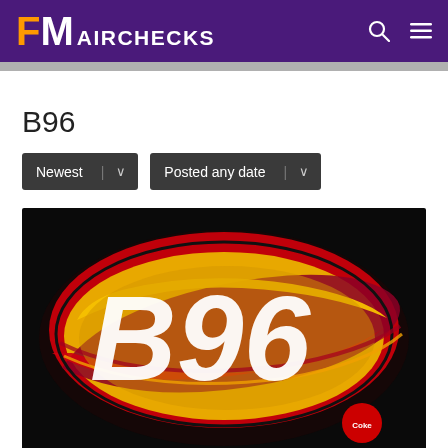FM AIRCHECKS
B96
Newest | v   Posted any date | v
[Figure (logo): B96 radio station logo on black background with red, yellow, and maroon swooping oval shapes and large stylized white B96 text]